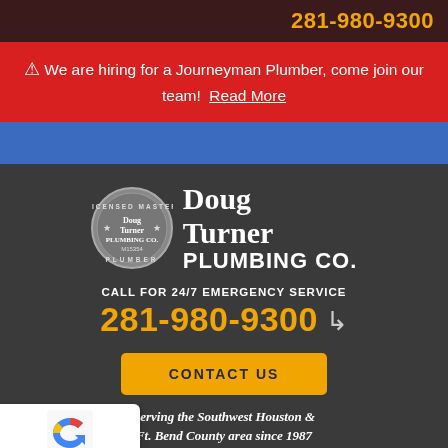281-980-9300
⚠ We are hiring for a Journeyman Plumber, come join our team! Read More
Doug Turner PLUMBING CO.
CALL FOR 24/7 EMERGENCY SERVICE
281-980-9300
CONTACT US
Serving the Southwest Houston & Ft. Bend County area since 1987
Privacy - Terms